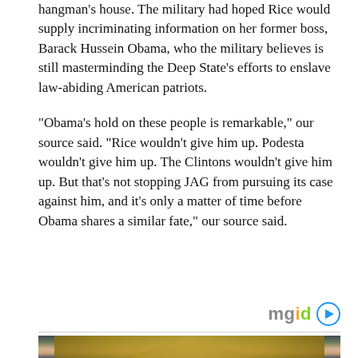hangman's house. The military had hoped Rice would supply incriminating information on her former boss, Barack Hussein Obama, who the military believes is still masterminding the Deep State's efforts to enslave law-abiding American patriots.
“Obama’s hold on these people is remarkable,” our source said. “Rice wouldn’t give him up. Podesta wouldn’t give him up. The Clintons wouldn’t give him up. But that’s not stopping JAG from pursuing its case against him, and it’s only a matter of time before Obama shares a similar fate,” our source said.
[Figure (logo): mgid logo with play button icon]
[Figure (photo): Close-up photograph of a woman with blonde hair and blue eyes looking directly at the camera, dark background]